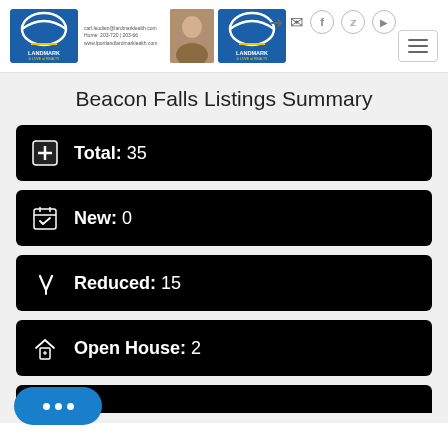Landmark & Love of Realty - navigation header with logo, agent photo, social icons, and hamburger menu
Beacon Falls Listings Summary
Total: 35
New: 0
Reduced: 15
Open House: 2